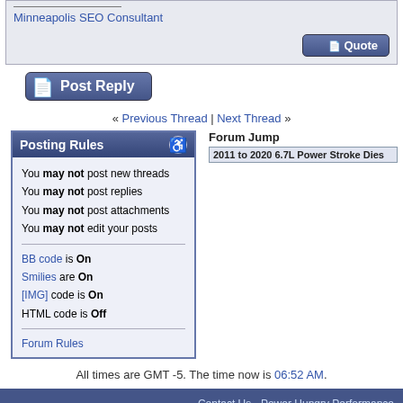Minneapolis SEO Consultant
Post Reply
« Previous Thread | Next Thread »
Posting Rules
You may not post new threads
You may not post replies
You may not post attachments
You may not edit your posts
BB code is On
Smilies are On
[IMG] code is On
HTML code is Off
Forum Rules
Forum Jump
2011 to 2020 6.7L Power Stroke Dies
All times are GMT -5. The time now is 06:52 AM.
Contact Us - Power Hungry Performance Forum - Archive - Privacy Statement - Top
All Contents Copyright 2008-2020, Power Hungry Performance